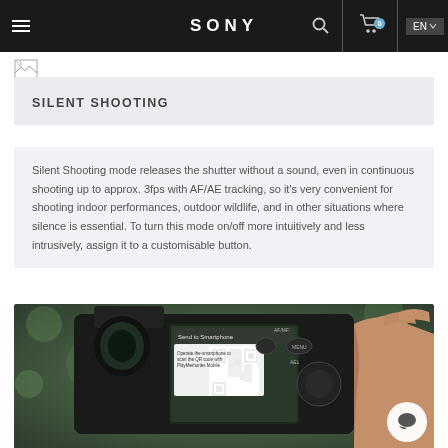SONY — Navigation bar with hamburger menu, Sony logo, search icon, cart (0), EN language selector
[Figure (other): Broken image icon (breadcrumb/logo placeholder)]
SILENT SHOOTING
Silent Shooting mode releases the shutter without a sound, even in continuous shooting up to approx. 3fps with AF/AE tracking, so it's very convenient for shooting indoor performances, outdoor wildlife, and in other situations where silence is essential. To turn this mode on/off more intuitively and less intrusively, assign it to a customisable button.
[Figure (photo): Back view of a Sony mirrorless camera being held in a hand, showing the LCD screen with a QR code overlay labeled 'Send to Smartphone — Operate the smartphone to scan the QR code with PlayMemories Mobile', camera buttons including MENU, AEL, AF/MF visible, green bokeh background, white chat/support bubble icon in bottom-right corner]